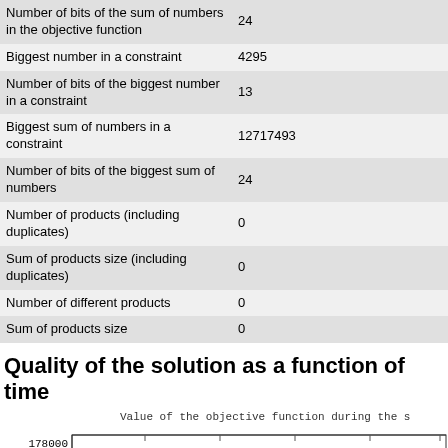| Property | Value |
| --- | --- |
| Number of bits of the sum of numbers in the objective function | 24 |
| Biggest number in a constraint | 4295 |
| Number of bits of the biggest number in a constraint | 13 |
| Biggest sum of numbers in a constraint | 12717493 |
| Number of bits of the biggest sum of numbers | 24 |
| Number of products (including duplicates) | 0 |
| Sum of products size (including duplicates) | 0 |
| Number of different products | 0 |
| Sum of products size | 0 |
Quality of the solution as a function of time
[Figure (continuous-plot): Line chart showing value of the objective function over time. Y-axis shows values from 176000 to 178000. A red line starts at approximately 176000 and decreases. Chart is partially visible.]